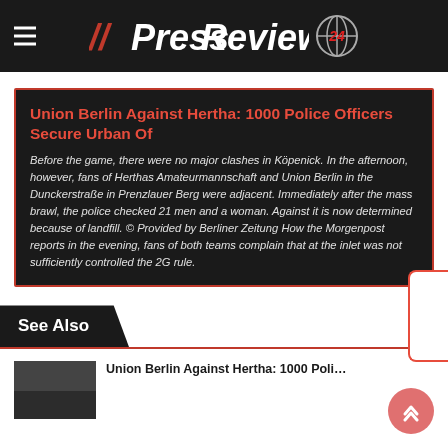PressReview24
Union Berlin Against Hertha: 1000 Police Officers Secure Urban Of
Before the game, there were no major clashes in Köpenick. In the afternoon, however, fans of Herthas Amateurmannschaft and Union Berlin in the Dunckerstraße in Prenzlauer Berg were adjacent. Immediately after the mass brawl, the police checked 21 men and a woman. Against it is now determined because of landfill. © Provided by Berliner Zeitung How the Morgenpost reports in the evening, fans of both teams complain that at the inlet was not sufficiently controlled the 2G rule.
See Also